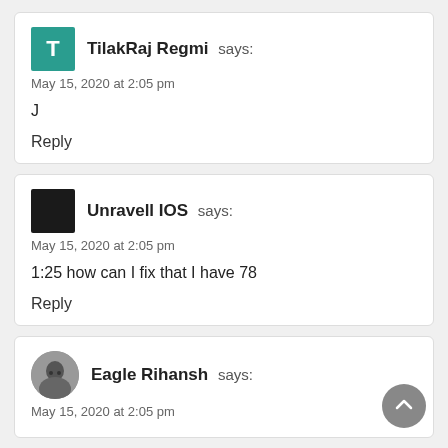TilakRaj Regmi says:
May 15, 2020 at 2:05 pm
J
Reply
Unravell IOS says:
May 15, 2020 at 2:05 pm
1:25 how can I fix that I have 78
Reply
Eagle Rihansh says:
May 15, 2020 at 2:05 pm